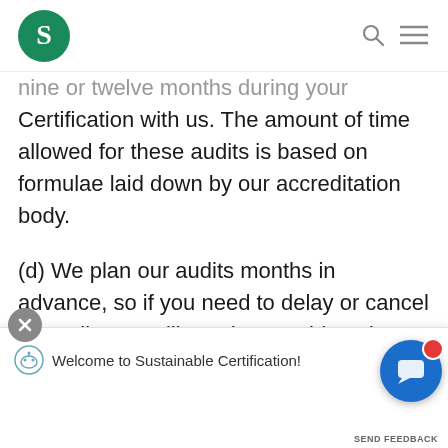Sustainable Certification logo and navigation
nine or twelve months during your Certification with us. The amount of time allowed for these audits is based on formulae laid down by our accreditation body.
(d) We plan our audits months in advance, so if you need to delay or cancel an audit, you will need to provide at least 14 days' notice. If the notice
of the audit, as we may not be a
Welcome to Sustainable Certification!